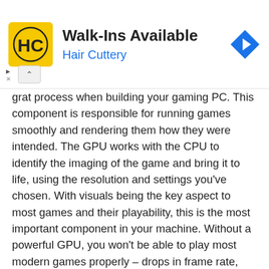[Figure (screenshot): Advertisement banner for Hair Cuttery salon showing logo, 'Walk-Ins Available' text, and navigation icon]
grat process when building your gaming PC. This component is responsible for running games smoothly and rendering them how they were intended. The GPU works with the CPU to identify the imaging of the game and bring it to life, using the resolution and settings you've chosen. With visuals being the key aspect to most games and their playability, this is the most important component in your machine. Without a powerful GPU, you won't be able to play most modern games properly – drops in frame rate, lag, etc.
Due to their importance, most PC builders will recommend spending a decent portion of your total budget on a quality GPU and CPU. Because these two components work in tandem, you'll want to make sure they are compatible and will perform well together.